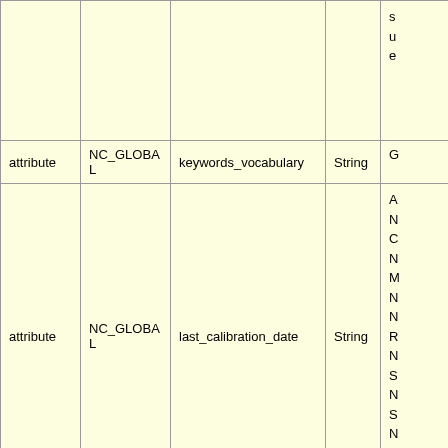|  |  |  |  |  |
| --- | --- | --- | --- | --- |
|  |  |  |  | s
u
e |
| attribute | NC_GLOBAL | keywords_vocabulary | String | G |
| attribute | NC_GLOBAL | last_calibration_date | String | A
N
C
N
M
N
N
R
N
S
N
S
N
V
N |
| attribute | NC_GLOBAL | license | String | H
u
s
n |
| attribute | NC_GLOBAL | metadata_character_set | String | u |